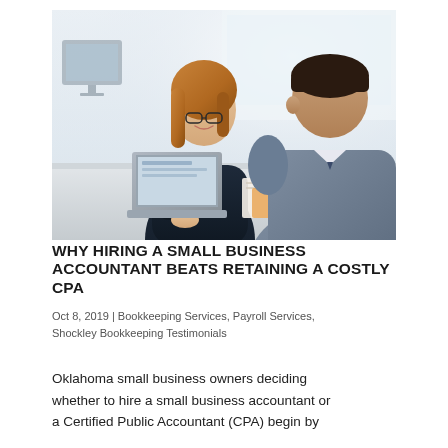[Figure (photo): A woman with blonde hair and glasses sitting at a desk with a laptop, smiling and speaking with a man in a grey suit who is seated across from her in a bright office setting.]
WHY HIRING A SMALL BUSINESS ACCOUNTANT BEATS RETAINING A COSTLY CPA
Oct 8, 2019 | Bookkeeping Services, Payroll Services, Shockley Bookkeeping Testimonials
Oklahoma small business owners deciding whether to hire a small business accountant or a Certified Public Accountant (CPA) begin by